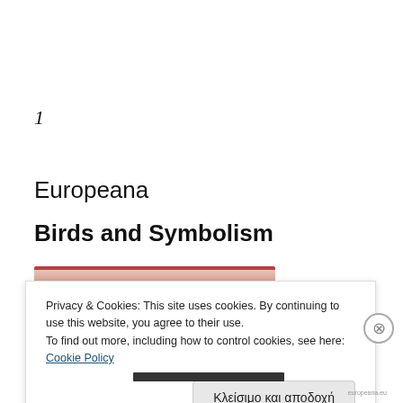1
Europeana
Birds and Symbolism
[Figure (photo): Partial view of a book or image strip with reddish-brown tones, partially obscured by cookie banner]
Privacy & Cookies: This site uses cookies. By continuing to use this website, you agree to their use.
To find out more, including how to control cookies, see here: Cookie Policy
Κλείσιμο και αποδοχή